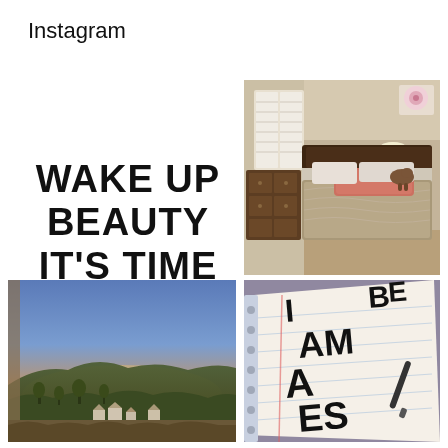Instagram
[Figure (illustration): Text motivational quote: WAKE UP BEAUTY IT'S TIME TO BEAST in bold black lettering on white background]
[Figure (photo): Bedroom photo showing a bed with patterned bedspread and salmon/coral pillow, dark wood headboard and dresser, white plantation shutters, and a lamp on a nightstand. A framed pink flower artwork is on the wall.]
[Figure (photo): Sunset landscape photo showing rolling hills with scattered houses and trees, clear gradient sky from orange near horizon to blue above, taken from inside through what appears to be a window or door frame.]
[Figure (photo): Close-up photo of a notebook page with large handwritten text reading 'I AM A BEAST' (partially visible, letters large and bold in black marker)]